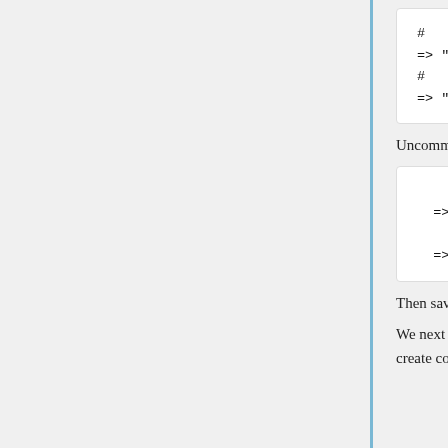[Figure (screenshot): Code block showing commented Rochester and Union library lines: # rochesterLibrary => "Rochester", # unionLibrary => "Union",]
Uncomment these lines (i.e. remove the # ) so they become
[Figure (screenshot): Code block showing uncommented Rochester and Union library lines: rochesterLibrary => "Rochester", unionLibrary => "Union",]
Then save the file and quit.
We next put links to the Rochester and Union Libraries in the modelCourse so that when we create courses copying templates from the modelCourse ,